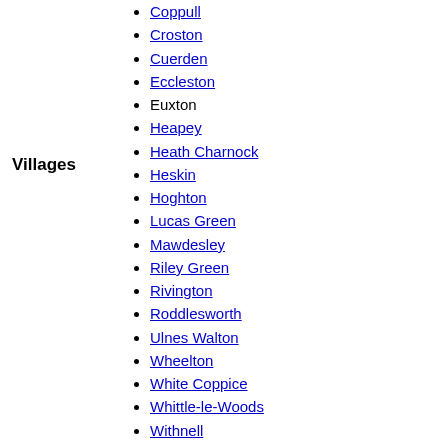Villages
Coppull
Croston
Cuerden
Eccleston
Euxton
Heapey
Heath Charnock
Heskin
Hoghton
Lucas Green
Mawdesley
Riley Green
Rivington
Roddlesworth
Ulnes Walton
Wheelton
White Coppice
Whittle-le-Woods
Withnell
Withnell Fold
Adlington
Anderton
Anglezarke
Astley Village